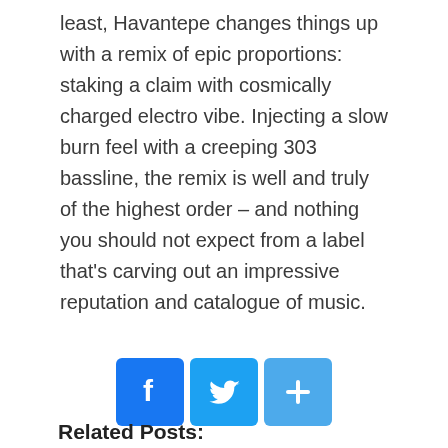least, Havantepe changes things up with a remix of epic proportions: staking a claim with cosmically charged electro vibe. Injecting a slow burn feel with a creeping 303 bassline, the remix is well and truly of the highest order – and nothing you should not expect from a label that's carving out an impressive reputation and catalogue of music.
[Figure (infographic): Social sharing icons: Facebook (blue), Twitter (light blue), and a share/add button (light blue)]
Related Posts: